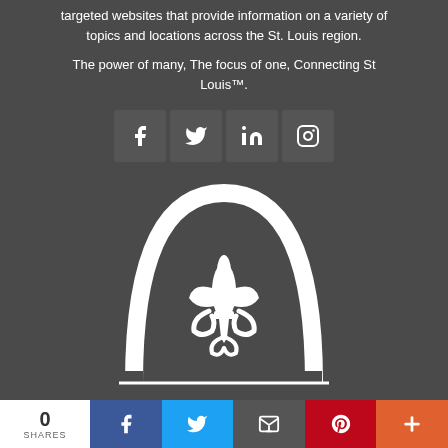targeted websites that provide information on a variety of topics and locations across the St. Louis region.
The power of many, The focus of one, Connecting St Louis™.
[Figure (other): Row of four social media icon buttons (Facebook, Twitter, LinkedIn, Instagram) on dark background]
[Figure (logo): Gateway Arch outline with fleur-de-lis symbol inside, white on dark grey background — St. Louis logo]
0 SHARES
[Figure (other): Social sharing bottom bar with Facebook (blue), Twitter (light blue), Email (dark grey), Pinterest (red), and More (orange) buttons]